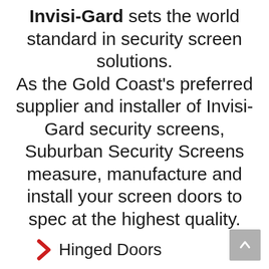Invisi-Gard sets the world standard in security screen solutions. As the Gold Coast's preferred supplier and installer of Invisi-Gard security screens, Suburban Security Screens measure, manufacture and install your screen doors to spec at the highest quality.
Hinged Doors